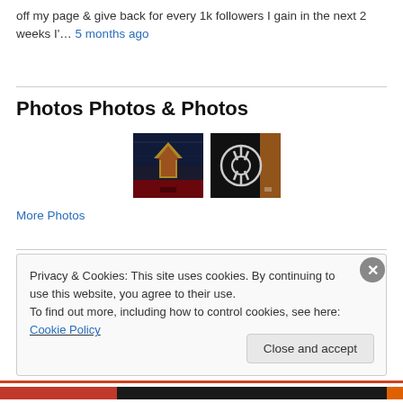off my page & give back for every 1k followers I gain in the next 2 weeks I'... 5 months ago
Photos Photos & Photos
[Figure (photo): Two photos side by side: left photo shows a Star Wars Imperial symbol/decal on a dark surface with gold/red tones; right photo shows a Rebel Alliance symbol/decal in silver on a dark background with warm lighting.]
More Photos
Privacy & Cookies: This site uses cookies. By continuing to use this website, you agree to their use.
To find out more, including how to control cookies, see here: Cookie Policy
Close and accept